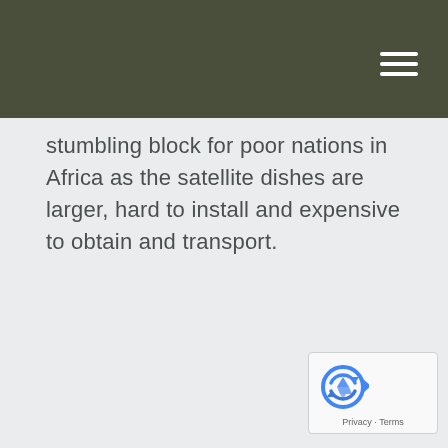stumbling block for poor nations in Africa as the satellite dishes are larger, hard to install and expensive to obtain and transport.
[Figure (logo): Google reCAPTCHA badge with recycling arrow logo icon and Privacy - Terms links]